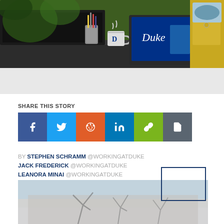[Figure (illustration): Illustrated comic-style scene showing a desk/workspace with a Duke-branded laptop, coffee mug, pencil holder, and kitchen items in background. Colorful illustration.]
SHARE THIS STORY
[Figure (infographic): Social share buttons: Facebook (blue), Twitter (light blue), Reddit (orange), LinkedIn (blue), Link/URL (green), Copy (gray)]
BY STEPHEN SCHRAMM @WORKINGATDUKE
JACK FREDERICK @WORKINGATDUKE
LEANORA MINAI @WORKINGATDUKE
[Figure (photo): Blurred outdoor photo showing a building and bare tree branches against a light blue sky, partially visible at the bottom of the page.]